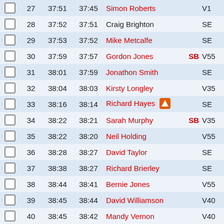|  | Pos | Time1 | Time2 | Name | SB | Cat |
| --- | --- | --- | --- | --- | --- | --- |
|  | 27 | 37:51 | 37:45 | Simon Roberts |  | V... |
|  | 28 | 37:52 | 37:51 | Craig Brighton |  | SE... |
|  | 29 | 37:53 | 37:52 | Mike Metcalfe |  | SE... |
|  | 30 | 37:59 | 37:57 | Gordon Jones | SB | V55 |
|  | 31 | 38:01 | 37:59 | Jonathon Smith |  | SE... |
|  | 32 | 38:04 | 38:03 | Kirsty Longley |  | V35 |
|  | 33 | 38:16 | 38:14 | Richard Hayes [flag] |  | SE... |
|  | 34 | 38:22 | 38:21 | Sarah Murphy | SB | V35 |
|  | 35 | 38:22 | 38:20 | Neil Holding |  | V55 |
|  | 36 | 38:28 | 38:27 | David Taylor |  | SE... |
|  | 37 | 38:38 | 38:27 | Richard Brierley |  | SE... |
|  | 38 | 38:44 | 38:41 | Bernie Jones |  | V55 |
|  | 39 | 38:45 | 38:44 | David Williamson |  | V40 |
|  | 40 | 38:45 | 38:42 | Mandy Vernon |  | V40 |
|  | 41 | 38:52 | 38:48 | Stan Owen |  | V60 |
|  | 42 | 39:07 | 39:06 | Gary English |  | V50 |
|  | 43 | 39:14 | 39:13 | Robert Kelly | SB | SE... |
|  | 44 | 39:23 | 39:22 | Number 318 |  | SE... |
|  | 45 | 39:26 | 39:25 | David Edwards |  | V50 |
|  | 46 | 39:29 | 39:26 | Lee Hughes |  | V40 |